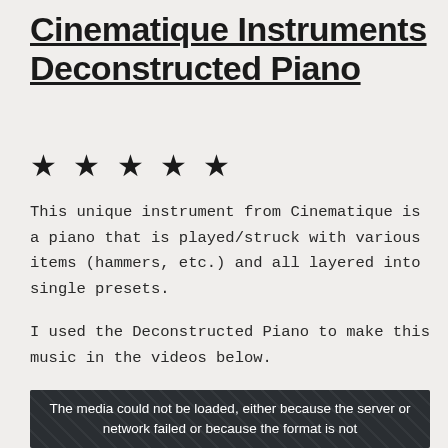Cinematique Instruments Deconstructed Piano
★ ★ ★ ★ ★
This unique instrument from Cinematique is a piano that is played/struck with various items (hammers, etc.) and all layered into single presets.
I used the Deconstructed Piano to make this music in the videos below.
[Figure (screenshot): Dark video player area showing error message: The media could not be loaded, either because the server or network failed or because the format is not]